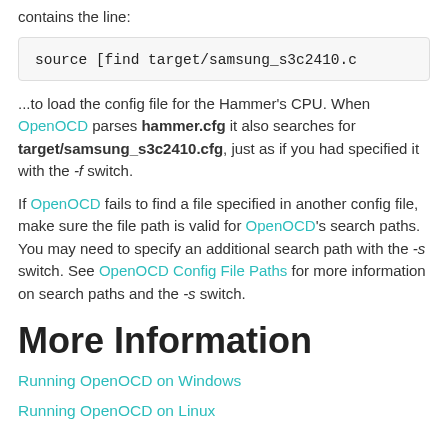contains the line:
source [find target/samsung_s3c2410.c
...to load the config file for the Hammer's CPU. When OpenOCD parses hammer.cfg it also searches for target/samsung_s3c2410.cfg, just as if you had specified it with the -f switch.
If OpenOCD fails to find a file specified in another config file, make sure the file path is valid for OpenOCD's search paths. You may need to specify an additional search path with the -s switch. See OpenOCD Config File Paths for more information on search paths and the -s switch.
More Information
Running OpenOCD on Windows
Running OpenOCD on Linux